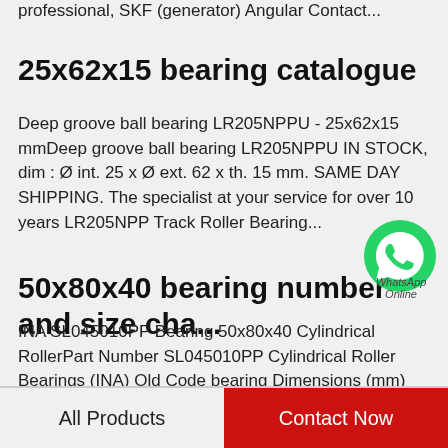professional, SKF (generator) Angular Contact...
25x62x15 bearing catalogue
Deep groove ball bearing LR205NPPU - 25x62x15 mmDeep groove ball bearing LR205NPPU IN STOCK, dim : Ø int. 25 x Ø ext. 62 x th. 15 mm. SAME DAY SHIPPING. The specialist at your service for over 10 years LR205NPP Track Roller Bearing...
50x80x40 bearing number and size cha...
INA SL045010PP Bearing 50x80x40 Cylindrical RollerPart Number SL045010PP Cylindrical Roller Bearings (INA) Old Code bearing Dimensions (mm) Inside diameter ID d 50 Outside diameter OD D 80 Thickness B  Roller Bearing 50x80x40 Suppliers,...
[Figure (illustration): WhatsApp Online chat bubble icon with green circle and phone icon, with text 'WhatsApp Online']
All Products   Contact Now